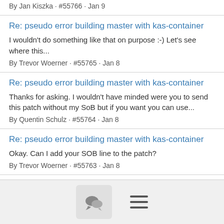By Jan Kiszka · #55766 · Jan 9
Re: pseudo error building master with kas-container
I wouldn't do something like that on purpose :-) Let's see where this...
By Trevor Woerner · #55765 · Jan 8
Re: pseudo error building master with kas-container
Thanks for asking. I wouldn't have minded were you to send this patch without my SoB but if you want you can use...
By Quentin Schulz · #55764 · Jan 8
Re: pseudo error building master with kas-container
Okay. Can I add your SOB line to the patch?
By Trevor Woerner · #55763 · Jan 8
[Figure (other): Footer navigation bar with chat bubble icon button and hamburger menu icon]